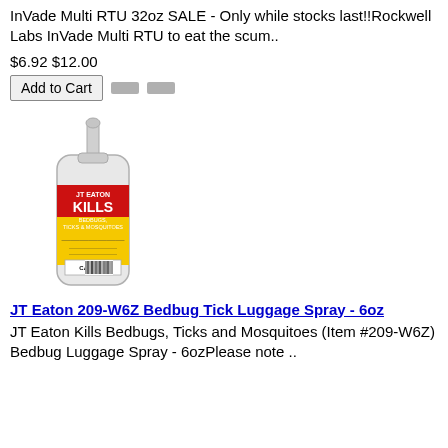InVade Multi RTU 32oz SALE - Only while stocks last!!Rockwell Labs InVade Multi RTU to eat the scum..
$6.92 $12.00
Add to Cart
[Figure (photo): A white spray bottle with a yellow and red label reading JT Eaton KILLS Bedbugs, Ticks & Mosquitoes, with a CAUTION label and barcode at the bottom.]
JT Eaton 209-W6Z Bedbug Tick Luggage Spray - 6oz
JT Eaton Kills Bedbugs, Ticks and Mosquitoes (Item #209-W6Z) Bedbug Luggage Spray - 6ozPlease note ..